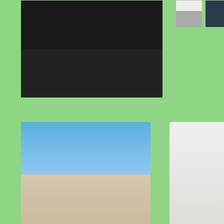[Figure (photo): Two people in black shirts posing together indoors]
[Figure (photo): Person in white top indoors]
[Figure (photo): Person outdoors with dark background]
[Figure (photo): Person in graduation cap and gown on beach]
[Figure (photo): Young woman smiling indoors leaning on surface]
[Figure (photo): Person in maroon shirt standing by park pond]
Processed with VSCO with a6 preset
[Figure (photo): Person in front of the Colosseum in Rome]
[Figure (photo): Person sitting overlooking a city skyline]
[Figure (photo): Person holding red fabric against light sky]